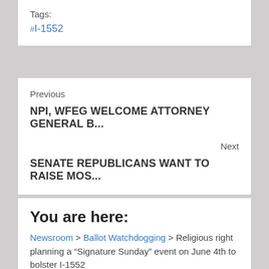Tags:
#I-1552
Previous
NPI, WFEG WELCOME ATTORNEY GENERAL B...
Next
SENATE REPUBLICANS WANT TO RAISE MOS...
You are here:
Newsroom > Ballot Watchdogging > Religious right planning a “Signature Sunday” event on June 4th to bolster I-1552